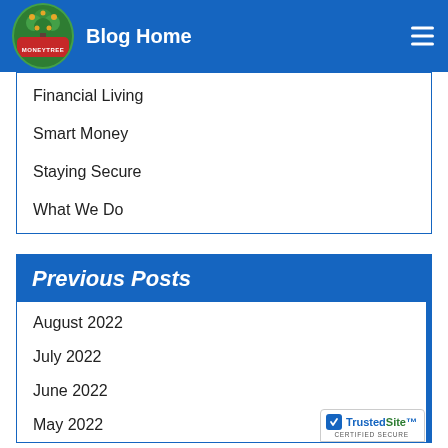Blog Home
Financial Living
Smart Money
Staying Secure
What We Do
Previous Posts
August 2022
July 2022
June 2022
May 2022